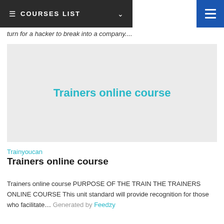COURSES LIST
turn for a hacker to break into a company....
[Figure (illustration): Gray placeholder image with centered cyan text reading 'Trainers online course']
Trainyoucan
Trainers online course
Trainers online course PURPOSE OF THE TRAIN THE TRAINERS ONLINE COURSE This unit standard will provide recognition for those who facilitate… Generated by Feedzy